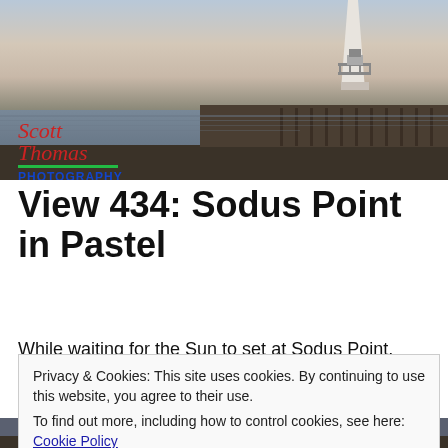[Figure (photo): Photograph of Sodus Point lighthouse on a pier extending into calm water, pastel sky at dusk. Scott Thomas Photography logo overlaid in bottom-left corner.]
View 434: Sodus Point in Pastel
While waiting for the Sun to set at Sodus Point, New York,
Privacy & Cookies: This site uses cookies. By continuing to use this website, you agree to their use.
To find out more, including how to control cookies, see here: Cookie Policy
Close and accept
[Figure (photo): Partial view of Sodus Point lighthouse at bottom of page.]